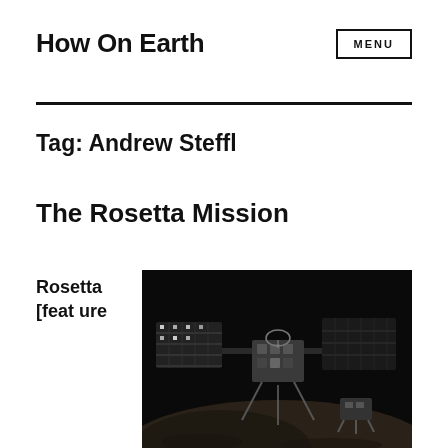How On Earth
Tag: Andrew Steffl
The Rosetta Mission
Rosetta [feature
[Figure (photo): Black and white photograph of the Rosetta spacecraft showing solar panels and structure against a dark background]